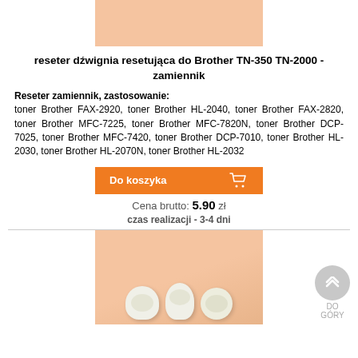[Figure (photo): Top portion of product image showing orange/peach background]
reseter dźwignia resetująca do Brother TN-350 TN-2000 - zamiennik
Reseter zamiennik, zastosowanie: toner Brother FAX-2920, toner Brother HL-2040, toner Brother FAX-2820, toner Brother MFC-7225, toner Brother MFC-7820N, toner Brother DCP-7025, toner Brother MFC-7420, toner Brother DCP-7010, toner Brother HL-2030, toner Brother HL-2070N, toner Brother HL-2032
[Figure (other): Do koszyka (add to cart) orange button with cart icon]
Cena brutto: 5.90 zł
czas realizacji - 3-4 dni
[Figure (photo): Product photo showing white plastic reseter parts on peach/orange background]
DO GÓRY